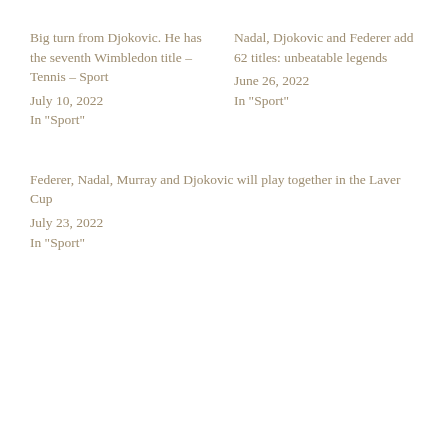Big turn from Djokovic. He has the seventh Wimbledon title – Tennis – Sport
July 10, 2022
In "Sport"
Nadal, Djokovic and Federer add 62 titles: unbeatable legends
June 26, 2022
In "Sport"
Federer, Nadal, Murray and Djokovic will play together in the Laver Cup
July 23, 2022
In "Sport"